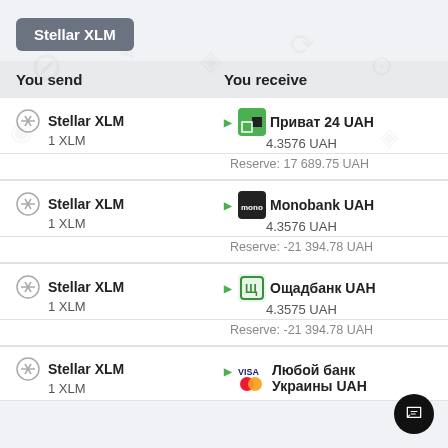Stellar XLM
| You send | You receive |
| --- | --- |
| Stellar XLM
1 XLM | Приват 24 UAH
4.3576 UAH |
| Reserve: 17 689.75 UAH |  |
| Stellar XLM
1 XLM | Monobank UAH
4.3576 UAH |
| Reserve: -21 394.78 UAH |  |
| Stellar XLM
1 XLM | Ощадбанк UAH
4.3575 UAH |
| Reserve: -21 394.78 UAH |  |
| Stellar XLM
1 XLM | Любой банк Украины UAH |